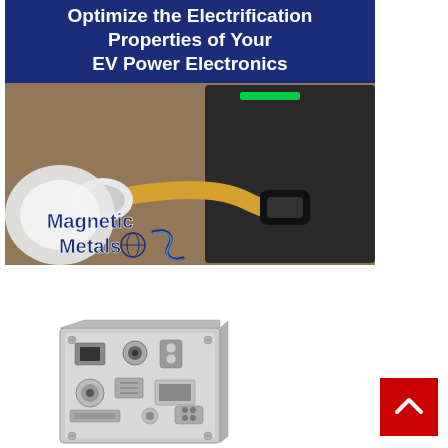[Figure (illustration): Magnetic Metals advertisement banner. Dark navy blue background with bold white text reading 'Optimize the Electrification Properties of Your EV Power Electronics'. Below the text is a photograph of an EV charging connector plugged into a charger station. Overlaid on the photo is the 'Magnetic Metals' logo in dark blue with a globe icon and stylized S/wave mark.]
[Figure (photo): A metallic cube-shaped electronic component or sensor device with various connectors, ports, and metallic fittings on its surfaces, photographed against a white background.]
[Figure (other): Red scroll-to-top button with white upward chevron arrow, positioned in bottom-right area of the page.]